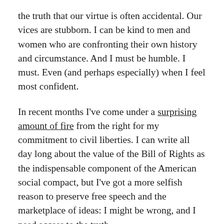the truth that our virtue is often accidental. Our vices are stubborn. I can be kind to men and women who are confronting their own history and circumstance. And I must be humble. I must. Even (and perhaps especially) when I feel most confident.
In recent months I've come under a surprising amount of fire from the right for my commitment to civil liberties. I can write all day long about the value of the Bill of Rights as the indispensable component of the American social compact, but I've got a more selfish reason to preserve free speech and the marketplace of ideas: I might be wrong, and I need access to the truth.
I don't want to trust the wisdom of my crowd or the assumptions of my own virtue. I've long pondered these remarkably honest words from Ta-Nehisi Coates, written almost nine years ago: